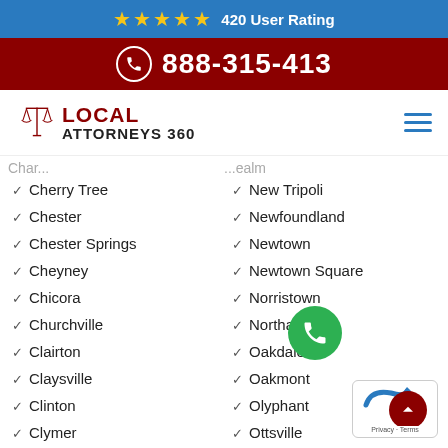★★★★★ 420 User Rating
888-315-413
[Figure (logo): Local Attorneys 360 logo with scales of justice icon]
Cherry Tree
New Tripoli
Chester
Newfoundland
Chester Springs
Newtown
Cheyney
Newtown Square
Chicora
Norristown
Churchville
Northampton
Clairton
Oakdale
Claysville
Oakmont
Clinton
Olyphant
Clymer
Ottsville
Coatesville
Oxford